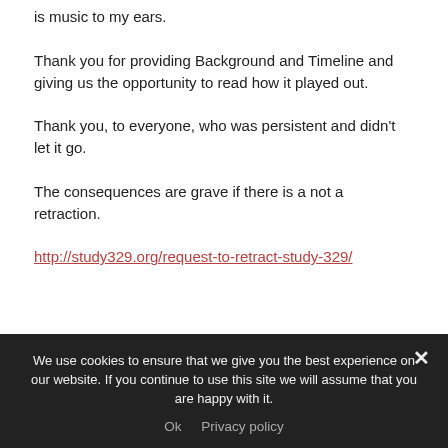is music to my ears.
Thank you for providing Background and Timeline and giving us the opportunity to read how it played out.
Thank you, to everyone, who was persistent and didn't let it go.
The consequences are grave if there is a not a retraction.
http://study329.org/request-to-retract-study-329/
We use cookies to ensure that we give you the best experience on our website. If you continue to use this site we will assume that you are happy with it.
Ok   Privacy policy